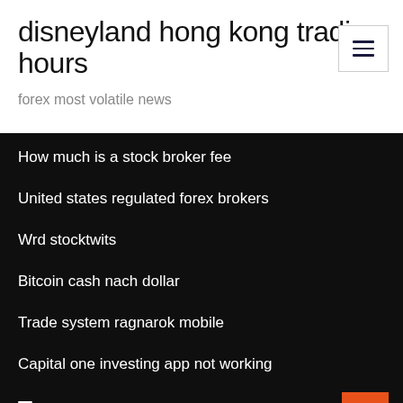disneyland hong kong trading hours
forex most volatile news
How much is a stock broker fee
United states regulated forex brokers
Wrd stocktwits
Bitcoin cash nach dollar
Trade system ragnarok mobile
Capital one investing app not working
Tags
Understanding stock numbers